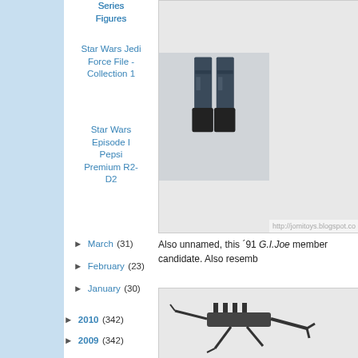Series Figures
Star Wars Jedi Force File - Collection 1
Star Wars Episode I Pepsi Premium R2-D2
► March (31)
► February (23)
► January (30)
► 2010 (342)
► 2009 (342)
[Figure (photo): Photo of a G.I. Joe figure lower body/legs in dark blue/black uniform and boots, with watermark http://jomitoys.blogspot.co]
Also unnamed, this ´91 G.I.Joe member candidate. Also resemb
[Figure (photo): Photo of G.I. Joe accessories/weapons including a grappling hook and other equipment pieces on white background]